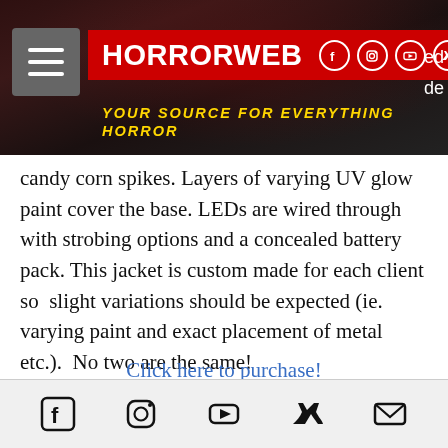HORRORWEB — YOUR SOURCE FOR EVERYTHING HORROR
candy corn spikes. Layers of varying UV glow paint cover the base. LEDs are wired through with strobing options and a concealed battery pack. This jacket is custom made for each client so slight variations should be expected (ie. varying paint and exact placement of metal etc.). No two are the same!
Click here to purchase!
The next jacket from this gory collab is "Karny Kash", available for both women
Social icons: Facebook, Instagram, YouTube, Twitter, Email